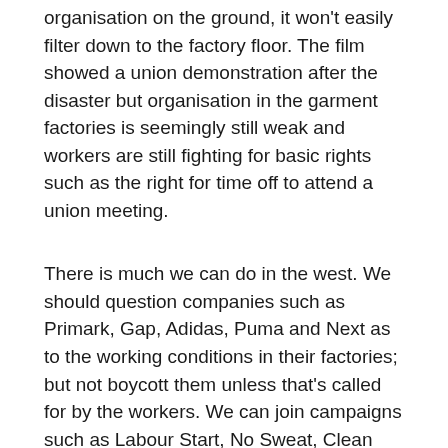organisation on the ground, it won't easily filter down to the factory floor. The film showed a union demonstration after the disaster but organisation in the garment factories is seemingly still weak and workers are still fighting for basic rights such as the right for time off to attend a union meeting.
There is much we can do in the west. We should question companies such as Primark, Gap, Adidas, Puma and Next as to the working conditions in their factories; but not boycott them unless that's called for by the workers. We can join campaigns such as Labour Start, No Sweat, Clean Clothes we can get our unions to join them and make direct links with unions in Bangladesh and other poor countries.
I recommend the film Rana Plaza to all unions, left and human rights organisations, it should be accompanied